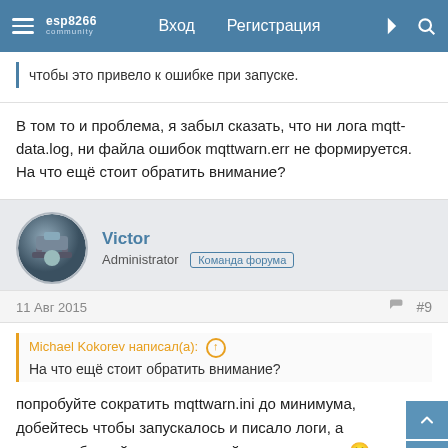esp8266 community — Вход Регистрация
чтобы это привело к ошибке при запуске.
В том то и проблема, я забыл сказать, что ни лога mqtt-data.log, ни файла ошибок mqttwarn.err не формируется. На что ещё стоит обратить внимание?
Victor
Administrator  Команда форума
11 Авг 2015  #9
Michael Kokorev написал(а): ↑
На что ещё стоит обратить внимание?
попробуйте сократить mqttwarn.ini до минимума, добейтесь чтобы запускалось и писало логи, а потом добавляйте свои настройки по чуть-чуть 🙂